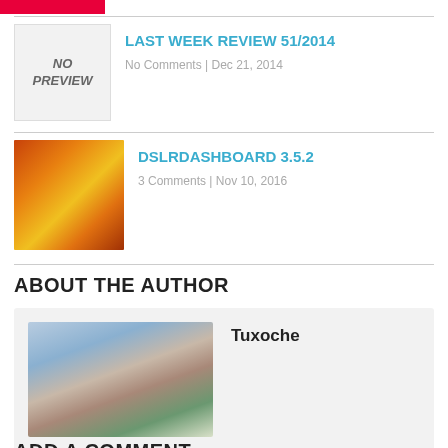[Figure (logo): Red bar/logo at top left]
LAST WEEK REVIEW 51/2014
No Comments | Dec 21, 2014
[Figure (photo): No preview placeholder thumbnail]
DSLRDASHBOARD 3.5.2
3 Comments | Nov 10, 2016
[Figure (photo): Sunflower thumbnail for DSLRDASHBOARD post]
ABOUT THE AUTHOR
[Figure (photo): Photo of Tuxoche, a man with camera on tripod]
Tuxoche
ADD A COMMENT